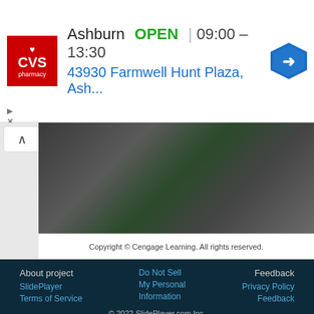[Figure (screenshot): CVS Pharmacy advertisement banner showing Ashburn location OPEN 09:00-13:30 at 43930 Farmwell Hunt Plaza]
Copyright © Cengage Learning. All rights reserved.
About project
Do Not Sell
Feedback
SlidePlayer
My Personal
Privacy Policy
Terms of Service
Information
Feedback
© 2022 SlidePlayer.com Inc.
All rights reserved.